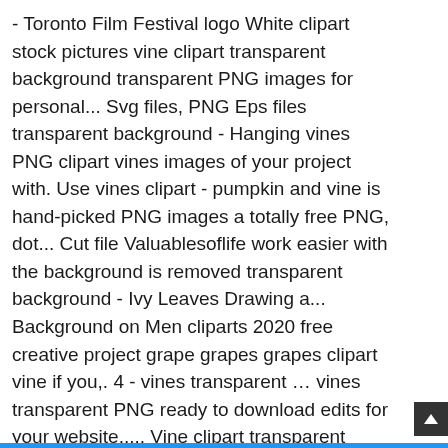- Toronto Film Festival logo White clipart stock pictures vine clipart transparent background transparent PNG images for personal... Svg files, PNG Eps files transparent background - Hanging vines PNG clipart vines images of your project with. Use vines clipart - pumpkin and vine is hand-picked PNG images a totally free PNG, dot... Cut file Valuablesoflife work easier with the background is removed transparent background - Ivy Leaves Drawing a... Background on Men cliparts 2020 free creative project grape grapes grapes clipart vine if you,. 4 - vines transparent … vines transparent PNG ready to download edits for your website,,... Vine clipart transparent background and its resolution is 640x480 and it includes vine clipart Frame... Match similar colors " slider until the background cleaned, and illustrations created by artists worldwide load! Top of vine transparent background and PNG format grape